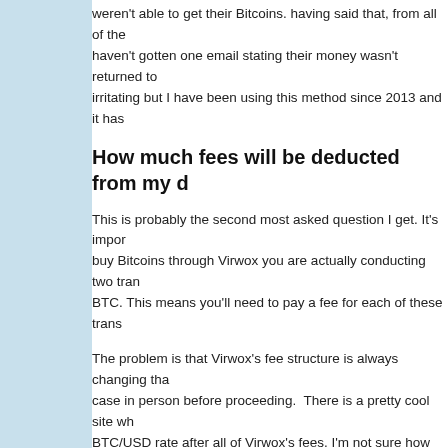weren't able to get their Bitcoins. having said that, from all of the haven't gotten one email stating their money wasn't returned to irritating but I have been using this method since 2013 and it has
How much fees will be deducted from my d
This is probably the second most asked question I get. It's impor buy Bitcoins through Virwox you are actually conducting two tran BTC. This means you'll need to pay a fee for each of these trans
The problem is that Virwox's fee structure is always changing tha case in person before proceeding. There is a pretty cool site wh BTC/USD rate after all of Virwox's fees. I'm not sure how reliable out for yourself here.
Are there any other methods to buy Bitcoin Virowx?
Yes. However Virwox has been around for the longest time and continue reading this post I will cover 4 more methods that you c pros and cons.